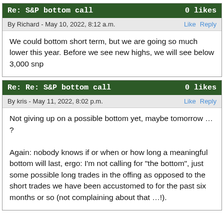Re: S&P bottom call — 0 likes
By Richard - May 10, 2022, 8:12 a.m.
We could bottom short term, but we are going so much lower this year. Before we see new highs, we will see below 3,000 snp
Re: Re: S&P bottom call — 0 likes
By kris - May 11, 2022, 8:02 p.m.
Not giving up on a possible bottom yet, maybe tomorrow … ?

Again: nobody knows if or when or how long a meaningful bottom will last, ergo: I'm not calling for "the bottom", just some possible long trades in the offing as opposed to the short trades we have been accustomed to for the past six months or so (not complaining about that …!).